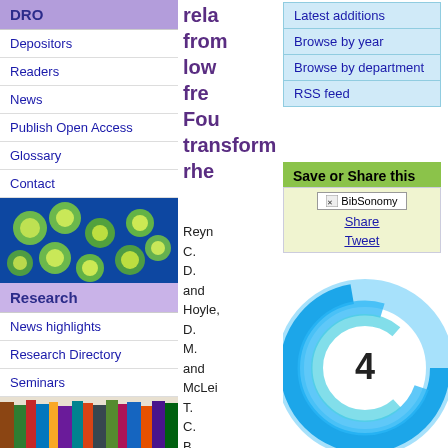DRO
Depositors
Readers
News
Publish Open Access
Glossary
Contact
[Figure (photo): Microscope image of green and yellow spherical microorganisms on a blue background]
Research
News highlights
Research Directory
Seminars
[Figure (photo): Colorful books spines stacked on a shelf]
rela from low fre Fou transform rhe
Latest additions
Browse by year
Browse by department
RSS feed
Save or Share this output
[Figure (other): BibSonomy button, Share link, Tweet link]
Reyn C. D. and Hoyle, D. M. and McLei T. C. B. and Thompson
[Figure (donut-chart): Citations]